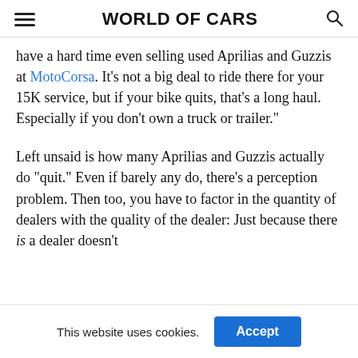WORLD OF CARS
have a hard time even selling used Aprilias and Guzzis at MotoCorsa. It’s not a big deal to ride there for your 15K service, but if your bike quits, that’s a long haul. Especially if you don’t own a truck or trailer.”
Left unsaid is how many Aprilias and Guzzis actually do “quit.” Even if barely any do, there’s a perception problem. Then too, you have to factor in the quantity of dealers with the quality of the dealer: Just because there is a dealer doesn’t